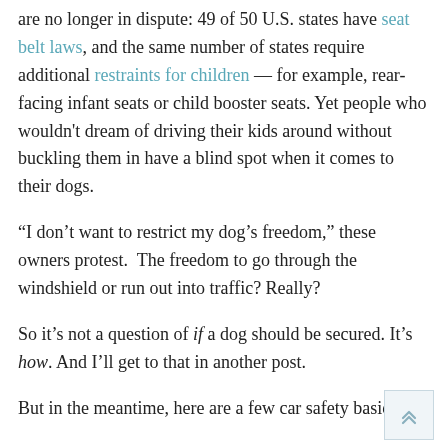are no longer in dispute: 49 of 50 U.S. states have seat belt laws, and the same number of states require additional restraints for children — for example, rear-facing infant seats or child booster seats. Yet people who wouldn't dream of driving their kids around without buckling them in have a blind spot when it comes to their dogs.
“I don’t want to restrict my dog’s freedom,” these owners protest.  The freedom to go through the windshield or run out into traffic? Really?
So it’s not a question of if a dog should be secured. It’s how. And I’ll get to that in another post.
But in the meantime, here are a few car safety basics.